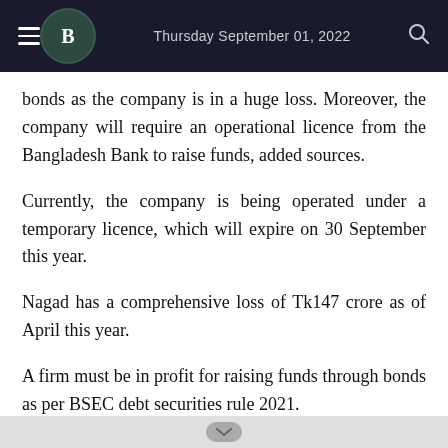Thursday September 01, 2022
bonds as the company is in a huge loss. Moreover, the company will require an operational licence from the Bangladesh Bank to raise funds, added sources.
Currently, the company is being operated under a temporary licence, which will expire on 30 September this year.
Nagad has a comprehensive loss of Tk147 crore as of April this year.
A firm must be in profit for raising funds through bonds as per BSEC debt securities rule 2021.